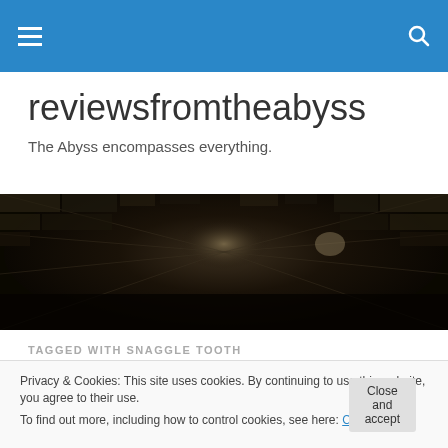reviewsfromtheabyss — navigation header with hamburger menu and search icon
reviewsfromtheabyss
The Abyss encompasses everything.
[Figure (photo): Dark tunnel/corridor banner image with dramatic perspective and stone/brick walls, zoomed-in vanishing point effect in dark sepia tones]
TAGGED WITH SNAGGLE TOOTH
Privacy & Cookies: This site uses cookies. By continuing to use this website, you agree to their use.
To find out more, including how to control cookies, see here: Cookie Policy
Close and accept